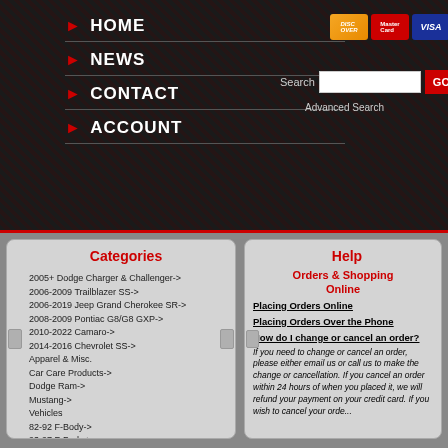Navigation bar with HOME, NEWS, CONTACT, ACCOUNT links and payment icons (Discover, Mastercard, Visa, eCheck, PayPal), Search box with GO button, Advanced Search link
Categories
2005+ Dodge Charger & Challenger->
2006-2009 Trailblazer SS->
2006-2019 Jeep Grand Cherokee SR->
2008-2009 Pontiac G8/G8 GXP->
2010-2022 Camaro->
2014-2016 Chevrolet SS->
Apparel & Misc.
Car Care Products->
Dodge Ram->
Mustang->
Vehicles
82-92 F-Body->
93-97 F-Body->
98-02 F-Body->
1997-2022 Corvette->
04-06 Pontiac GTO->
2004-2020 Cadillac CTS-V->
04-06 Cadillac XLR
1999-2018 GM Trucks->
00-06 Cadillac Escalade
2003-2009 Hummer H2->
Help
Orders & Shopping Online
Placing Orders Online
Placing Orders Over the Phone
How do I change or cancel an order?
If you need to change or cancel an order, please either email us or call us to make the change or cancellation. If you cancel an order within 24 hours of when you placed it, we will refund your payment on your credit card. If you wish to cancel your order...